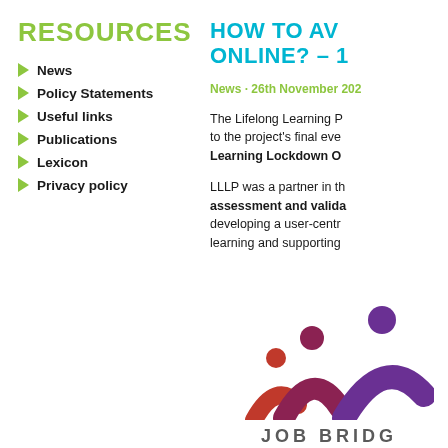RESOURCES
News
Policy Statements
Useful links
Publications
Lexicon
Privacy policy
HOW TO AV... ONLINE? – 1...
News · 26th November 202...
The Lifelong Learning P... to the project's final eve... Learning Lockdown O...
LLLP was a partner in th... assessment and valida... developing a user-centr... learning and supporting...
[Figure (logo): Job Bridge logo with three stylized human figures in red, maroon, and purple colors arching together, with text JOB BRIDGE below]